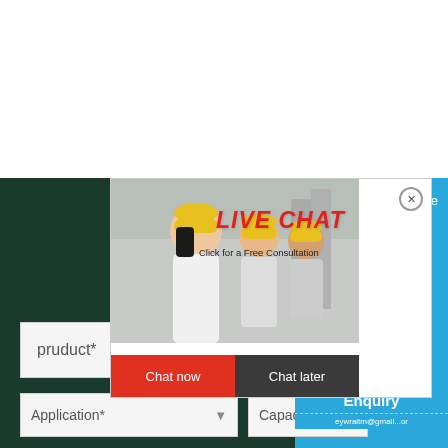[Figure (screenshot): Live chat popup overlay with construction workers in hard hats, red 'LIVE CHAT' title, 'Click for a Free Consultation' subtitle, 'Chat now' red button and 'Chat later' dark button]
[Figure (photo): Blue sidebar panel showing a cone crusher machine with 'hour online' text and 'Click me to chat>>' button]
pruduct*
Application*
Capacity*
Enquiry
eywraitm@gmail...or